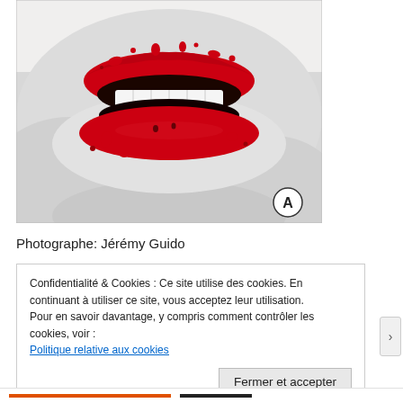[Figure (photo): Close-up photo of lips with red lipstick and white makeup surrounding. The lips are parted showing white teeth. A circled letter A watermark appears in the bottom right corner of the image.]
Photographe: Jérémy Guido
Confidentialité & Cookies : Ce site utilise des cookies. En continuant à utiliser ce site, vous acceptez leur utilisation.
Pour en savoir davantage, y compris comment contrôler les cookies, voir :
Politique relative aux cookies